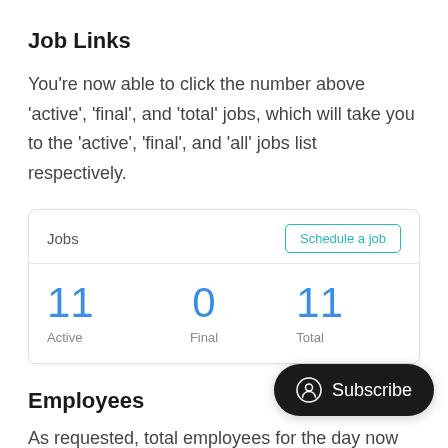Job Links
You're now able to click the number above 'active', 'final', and 'total' jobs, which will take you to the 'active', 'final', and 'all' jobs list respectively.
| Jobs | Schedule a job |
| --- | --- |
| 11 Active | 0 Final | 11 Total |
Employees
As requested, total employees for the day now has a